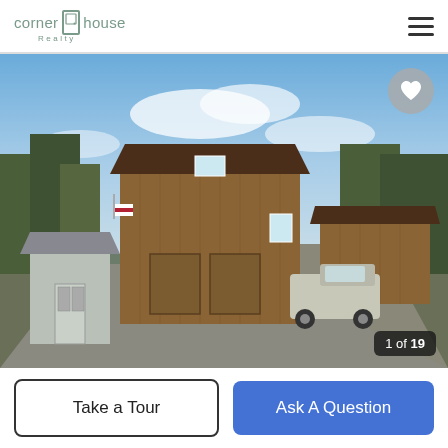corner house Realty
[Figure (photo): Exterior photo of a two-story wood-sided barn-style house with a gravel driveway, a small shed on the left, a pickup truck parked in the middle, and a secondary wooden outbuilding on the right, surrounded by trees under a blue sky. Counter shows 1 of 19.]
Take a Tour
Ask A Question